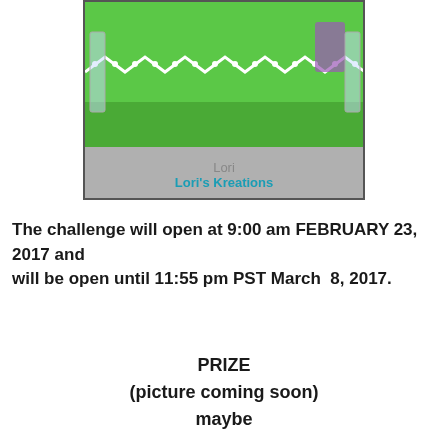[Figure (photo): Craft item (bracelet or decorated item) on green background with white lace detail, displayed in a clear holder. Below the photo is a gray banner with 'Lori' in gray text and 'Lori's Kreations' in teal/blue hyperlink text.]
The challenge will open at 9:00 am FEBRUARY 23, 2017 and 
 will be open until 11:55 pm PST March  8, 2017.
PRIZE
(picture coming soon)
maybe